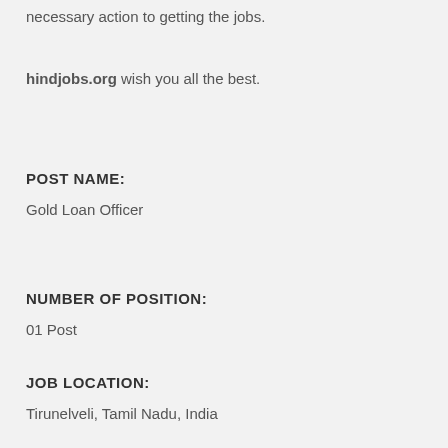necessary action to getting the jobs.
hindjobs.org wish you all the best.
POST NAME:
Gold Loan Officer
NUMBER OF POSITION:
01 Post
JOB LOCATION:
Tirunelveli, Tamil Nadu, India